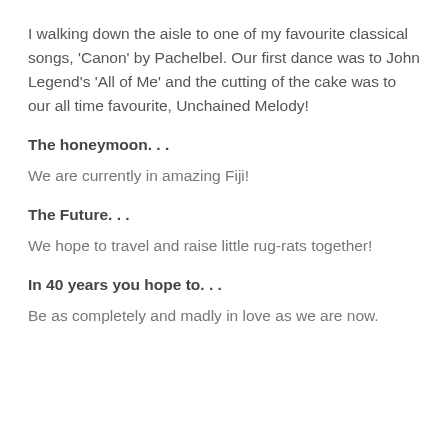I walking down the aisle to one of my favourite classical songs, 'Canon' by Pachelbel. Our first dance was to John Legend's 'All of Me' and the cutting of the cake was to our all time favourite, Unchained Melody!
The honeymoon. . .
We are currently in amazing Fiji!
The Future. . .
We hope to travel and raise little rug-rats together!
In 40 years you hope to. . .
Be as completely and madly in love as we are now.